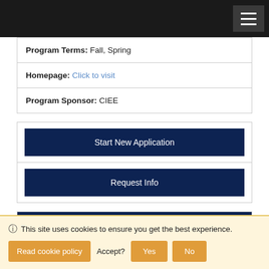Navigation bar with hamburger menu
Program Terms: Fall, Spring
Homepage: Click to visit
Program Sponsor: CIEE
Start New Application
Request Info
Dates / Deadlines:
|  |  |  | Rolling Admission | TBA |  |
| --- | --- | --- | --- | --- | --- |
| Fall | 2025 | 03/31/2025 | Rolling Admission | TBA |  |
This site uses cookies to ensure you get the best experience.
Read cookie policy   Accept?   Yes   No